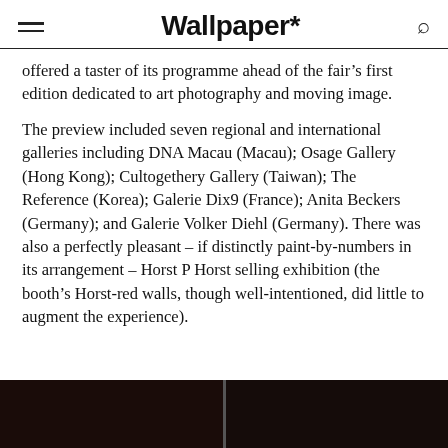Wallpaper*
offered a taster of its programme ahead of the fair's first edition dedicated to art photography and moving image.
The preview included seven regional and international galleries including DNA Macau (Macau); Osage Gallery (Hong Kong); Cultogethery Gallery (Taiwan); The Reference (Korea); Galerie Dix9 (France); Anita Beckers (Germany); and Galerie Volker Diehl (Germany). There was also a perfectly pleasant – if distinctly paint-by-numbers in its arrangement – Horst P Horst selling exhibition (the booth's Horst-red walls, though well-intentioned, did little to augment the experience).
[Figure (photo): Dark photograph strip at the bottom of the page, split into two panels by a thin vertical line, with very dark brown/black tones.]